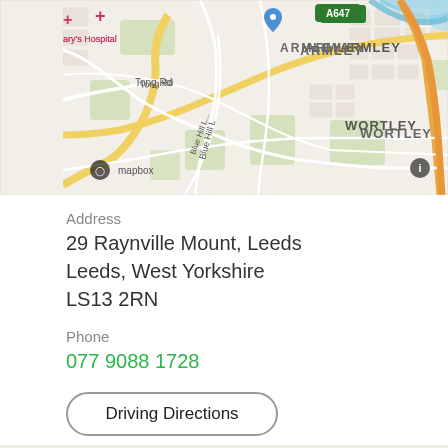[Figure (map): Mapbox map showing area around 29 Raynville Mount, Leeds. Shows neighborhoods: ARMLEY, NEW WORTLEY, WORTLEY, HOLBECK. Streets include Tong Rd, Blue Hill Lane, A647 road. Map includes location pin, hospital marker for St Mary's Hospital, and Mapbox attribution logo.]
Address
29 Raynville Mount, Leeds
Leeds, West Yorkshire
LS13 2RN
Phone
077 9088 1728
Driving Directions